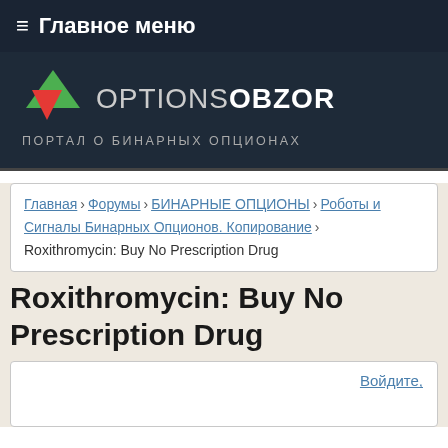≡ Главное меню
[Figure (logo): OptionsObzor logo with green and red triangles, text OPTIONSOBZOR and subtitle ПОРТАЛ О БИНАРНЫХ ОПЦИОНАХ]
Главная › Форумы › БИНАРНЫЕ ОПЦИОНЫ › Роботы и Сигналы Бинарных Опционов. Копирование › Roxithromycin: Buy No Prescription Drug
Roxithromycin: Buy No Prescription Drug
Войдите,